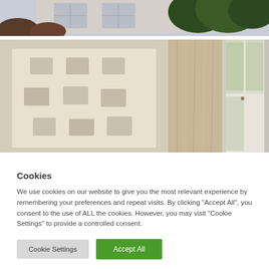[Figure (photo): Partial view of an exterior building facade with windows and green trees/shrubs visible at the top of the page]
[Figure (photo): Interior room photo showing a white wall with a grid arrangement of small square sculptural relief tiles, beige/linen curtains, and tall French doors/windows opening to greenery outside]
Cookies
We use cookies on our website to give you the most relevant experience by remembering your preferences and repeat visits. By clicking "Accept All", you consent to the use of ALL the cookies. However, you may visit "Cookie Settings" to provide a controlled consent.
Cookie Settings
Accept All